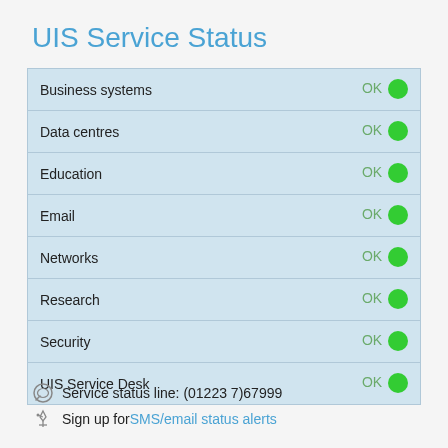UIS Service Status
| Service | Status | Indicator |
| --- | --- | --- |
| Business systems | OK | ● |
| Data centres | OK | ● |
| Education | OK | ● |
| Email | OK | ● |
| Networks | OK | ● |
| Research | OK | ● |
| Security | OK | ● |
| UIS Service Desk | OK | ● |
Service status line: (01223 7)67999
Sign up for SMS/email status alerts